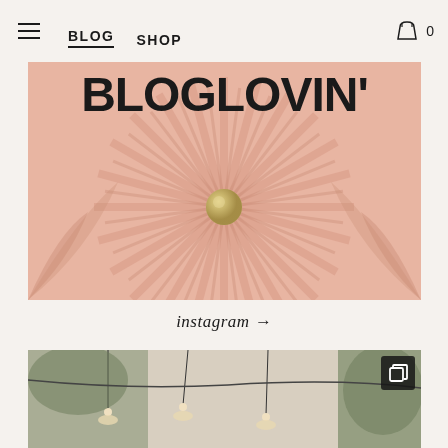BLOG  SHOP  0
[Figure (illustration): BLOGLOVIN' text over a peach/salmon colored background with a starburst/sunburst pattern and a gold sphere in the center.]
instagram →
[Figure (photo): Instagram photo preview showing a botanical/plant-filled outdoor space with hanging pendant lights and a dark square Instagram multi-photo icon in the top right corner.]